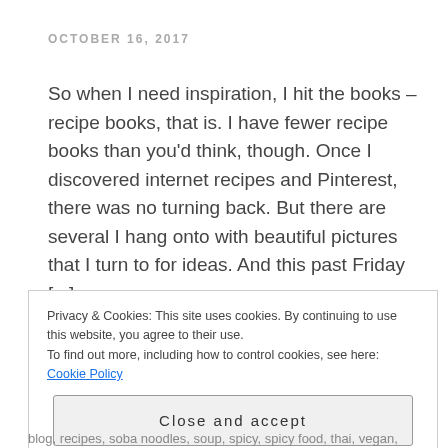OCTOBER 16, 2017
So when I need inspiration, I hit the books – recipe books, that is. I have fewer recipe books than you'd think, though. Once I discovered internet recipes and Pinterest, there was no turning back. But there are several I hang onto with beautiful pictures that I turn to for ideas. And this past Friday [...]
Privacy & Cookies: This site uses cookies. By continuing to use this website, you agree to their use.
To find out more, including how to control cookies, see here: Cookie Policy
Close and accept
blog, recipes, soba noodles, soup, spicy, spicy food, thai, vegan,